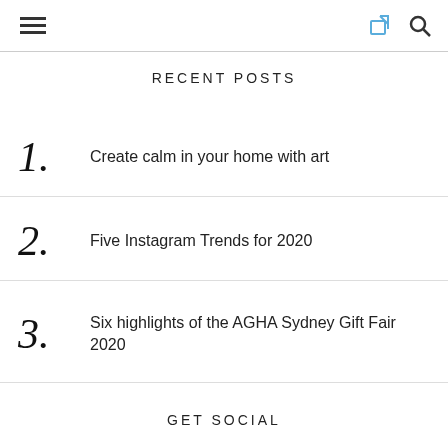[hamburger menu] [share icon] [search icon]
RECENT POSTS
1. Create calm in your home with art
2. Five Instagram Trends for 2020
3. Six highlights of the AGHA Sydney Gift Fair 2020
GET SOCIAL